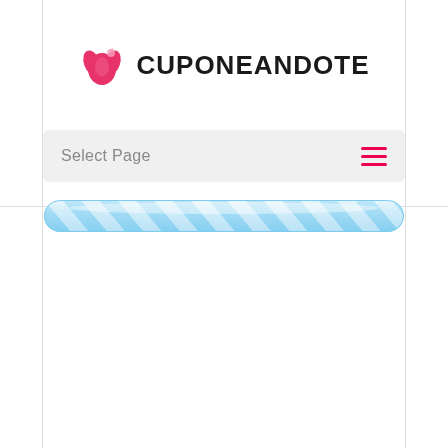[Figure (logo): Cuponeandote logo with pink tulip/flame icon and bold text CUPONEANDOTE]
Select Page
[Figure (infographic): A candy-cane striped blue loading bar / progress bar element]